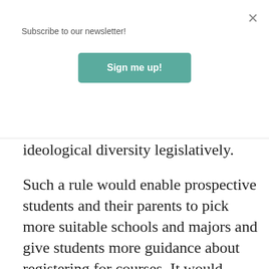Subscribe to our newsletter!
ideological diversity legislatively.
Such a rule would enable prospective students and their parents to pick more suitable schools and majors and give students more guidance about registering for courses. It would make the transfer process easier. It would potentially give employers more insight into prospective employees: whether, for instance, their courses were likely to have taught them to reason